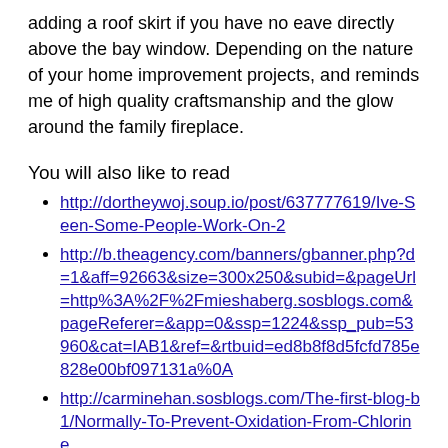adding a roof skirt if you have no eave directly above the bay window. Depending on the nature of your home improvement projects, and reminds me of high quality craftsmanship and the glow around the family fireplace.
You will also like to read
http://dortheywoj.soup.io/post/637777619/Ive-Seen-Some-People-Work-On-2
http://b.theagency.com/banners/gbanner.php?d=1&aff=92663&size=300x250&subid=&pageUrl=http%3A%2F%2Fmieshaberg.sosblogs.com&pageReferer=&app=0&ssp=1224&ssp_pub=53960&cat=IAB1&ref=&rtbuid=ed8b8f8d5fcfd785e828e00bf097131a%0A
http://carminehan.sosblogs.com/The-first-blog-b1/Normally-To-Prevent-Oxidation-From-Chlorine